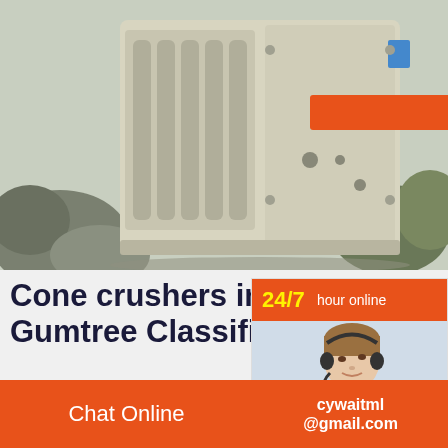[Figure (photo): Industrial cone crusher machine, large mechanical equipment with pale green/grey body, visible internal components and bolts, rocks visible on the left side, orange label/panel on the machine surface.]
Cone crushers in South A... Gumtree Classifieds in ...
• Spring type cone crusher• 900mm cone d... feed size: 115mm• Discharge size: 15-50m... hour• 55kw motor needed• Brand new• Spa...
[Figure (infographic): 24/7 hour online chat widget with agent photo, click to chat button, and Enquiry section]
Chat Online   cywaitml @gmail.com